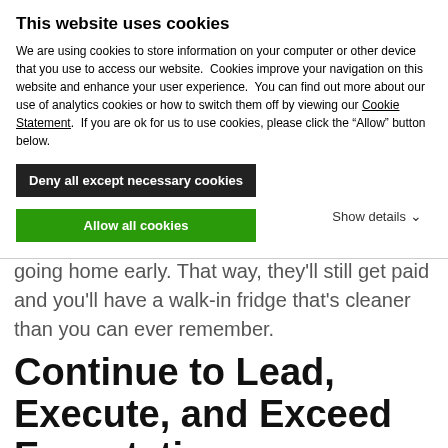This website uses cookies
We are using cookies to store information on your computer or other device that you use to access our website.  Cookies improve your navigation on this website and enhance your user experience.  You can find out more about our use of analytics cookies or how to switch them off by viewing our Cookie Statement.  If you are ok for us to use cookies, please click the “Allow” button below.
Deny all except necessary cookies
Allow all cookies
Show details ∨
clean different parts of the kitchen instead of going home early. That way, they’ll still get paid and you’ll have a walk-in fridge that’s cleaner than you can ever remember.
Continue to Lead, Execute, and Exceed Expectations